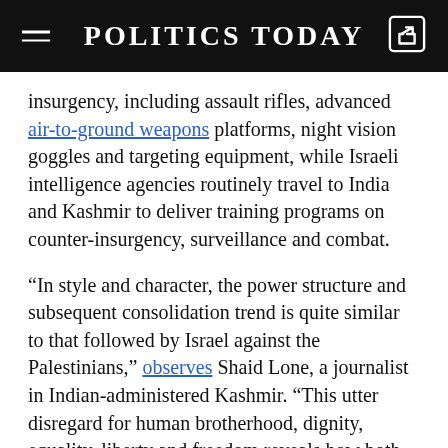POLITICS TODAY
insurgency, including assault rifles, advanced air-to-ground weapons platforms, night vision goggles and targeting equipment, while Israeli intelligence agencies routinely travel to India and Kashmir to deliver training programs on counter-insurgency, surveillance and combat.
“In style and character, the power structure and subsequent consolidation trend is quite similar to that followed by Israel against the Palestinians,” observes Shaid Lone, a journalist in Indian-administered Kashmir. “This utter disregard for human brotherhood, dignity, equality, liberty and freedom reveals how both countries are making a mockery of open government and how the global advocates of democracy maintain a criminal silence to protect